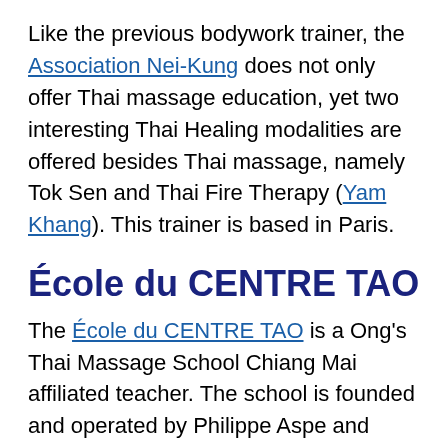Like the previous bodywork trainer, the Association Nei-Kung does not only offer Thai massage education, yet two interesting Thai Healing modalities are offered besides Thai massage, namely Tok Sen and Thai Fire Therapy (Yam Khang). This trainer is based in Paris.
École du CENTRE TAO
The École du CENTRE TAO is a Ong's Thai Massage School Chiang Mai affiliated teacher. The school is founded and operated by Philippe Aspe and offers Tok Sen, Thai Massage, Chi Nei Tsang (Thai Abdominal Massage), and Thai Herbal Compress Massage courses. Philippe also offers a travel abroad study program to